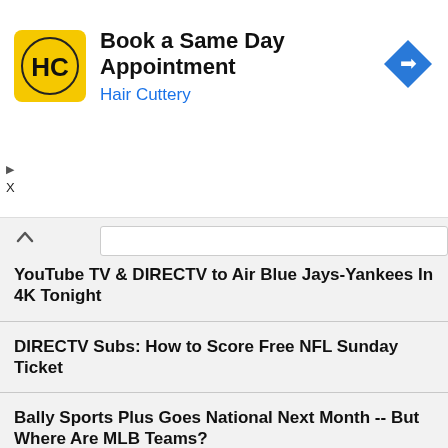[Figure (advertisement): Hair Cuttery ad banner: logo (HC in yellow circle), title 'Book a Same Day Appointment', subtitle 'Hair Cuttery', blue diamond arrow icon on right]
YouTube TV & DIRECTV to Air Blue Jays-Yankees In 4K Tonight
DIRECTV Subs: How to Score Free NFL Sunday Ticket
Bally Sports Plus Goes National Next Month -- But Where Are MLB Teams?
How to Fix a TV Picture That's Too Dark
Deal of the Day: How to Get HBO Max For 41 Percent Off
Does DIRECTV Stream Offer NFL Sunday Ticket?
Is NFL Plus Worth Your $5 a Month?